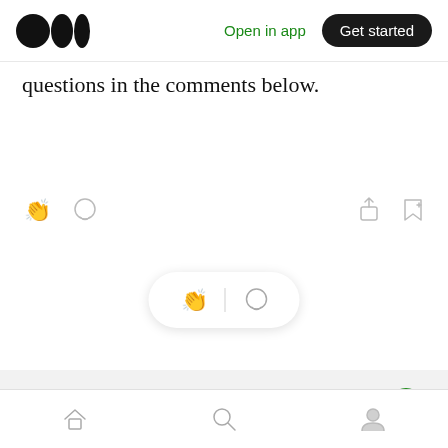Medium logo | Open in app | Get started
questions in the comments below.
[Figure (screenshot): Article action bar with clap, comment, share, and bookmark icons]
[Figure (screenshot): Floating pill with clap and comment icons]
More from Lindsay Kirsch
Lindsay Kirsch is an expert in workflow design and marketing automation strategy.
Bottom navigation bar with home, search, and profile icons